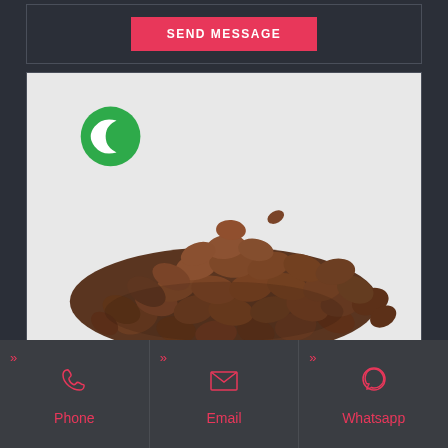[Figure (other): Send message button inside a bordered box on dark background]
[Figure (photo): Pile of dark brown cocoa beans or coffee beans on a light/white background, with a green circular logo in the upper left of the image]
Phone
Email
Whatsapp